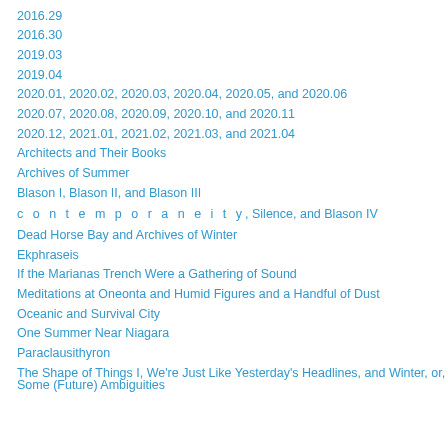2016.29
2016.30
2019.03
2019.04
2020.01, 2020.02, 2020.03, 2020.04, 2020.05, and 2020.06
2020.07, 2020.08, 2020.09, 2020.10, and 2020.11
2020.12, 2021.01, 2021.02, 2021.03, and 2021.04
Architects and Their Books
Archives of Summer
Blason I, Blason II, and Blason III
c o n t e m p o r a n e i t y, Silence, and Blason IV
Dead Horse Bay and Archives of Winter
Ekphraseis
If the Marianas Trench Were a Gathering of Sound
Meditations at Oneonta and Humid Figures and a Handful of Dust
Oceanic and Survival City
One Summer Near Niagara
Paraclausithyron
The Shape of Things I, We're Just Like Yesterday's Headlines, and Winter, or, Some (Future) Ambiguities